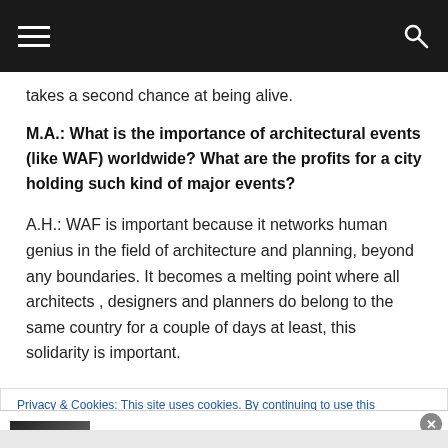Navigation bar with hamburger menu and search icon
takes a second chance at being alive.
M.A.: What is the importance of architectural events (like WAF) worldwide? What are the profits for a city holding such kind of major events?
A.H.: WAF is important because it networks human genius in the field of architecture and planning, beyond any boundaries. It becomes a melting point where all architects , designers and planners do belong to the same country for a couple of days at least, this solidarity is important.
Privacy & Cookies: This site uses cookies. By continuing to use this
[Figure (screenshot): Advertisement banner for Women's Fashion Shop Online VENUS with thumbnail image, shop description, venus.com URL, and blue circular arrow button]